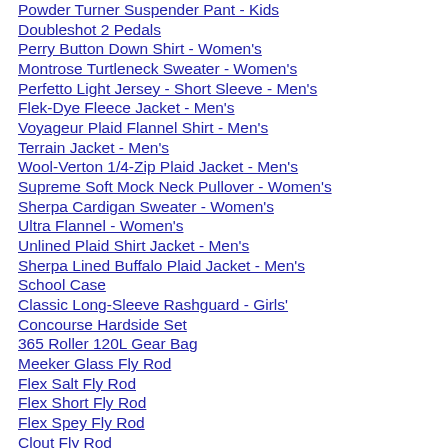Powder Turner Suspender Pant - Kids
Doubleshot 2 Pedals
Perry Button Down Shirt - Women's
Montrose Turtleneck Sweater - Women's
Perfetto Light Jersey - Short Sleeve - Men's
Flek-Dye Fleece Jacket - Men's
Voyageur Plaid Flannel Shirt - Men's
Terrain Jacket - Men's
Wool-Verton 1/4-Zip Plaid Jacket - Men's
Supreme Soft Mock Neck Pullover - Women's
Sherpa Cardigan Sweater - Women's
Ultra Flannel - Women's
Unlined Plaid Shirt Jacket - Men's
Sherpa Lined Buffalo Plaid Jacket - Men's
School Case
Classic Long-Sleeve Rashguard - Girls'
Concourse Hardside Set
365 Roller 120L Gear Bag
Meeker Glass Fly Rod
Flex Salt Fly Rod
Flex Short Fly Rod
Flex Spey Fly Rod
Clout Fly Rod
View Fly Rod
Teal Plaid Flannel Button-Down Shirt - Men's
Buffalo Check Flannel Button Down Shirt - Men's